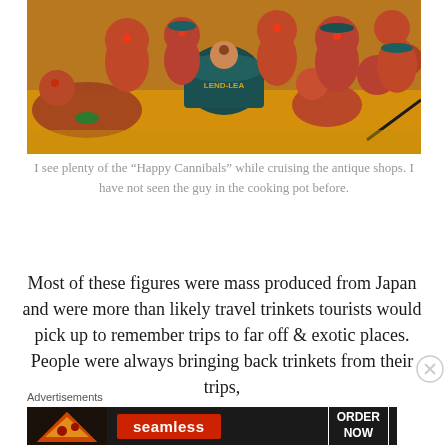[Figure (photo): Collection of ceramic 'Happy Cannibals' figurines on a yellow surface, including one figure sitting in a dark cooking pot labeled 'LEND-LEA']
I see plenty of the “Happy Cannibals” while cruising the antique shops. I have not seen the guy in the cooking pot before.
Most of these figures were mass produced from Japan and were more than likely travel trinkets tourists would pick up to remember trips to far off & exotic places. People were always bringing back trinkets from their trips,
Advertisements
[Figure (screenshot): Seamless food delivery advertisement banner with pizza image, Seamless red logo, and ORDER NOW button]